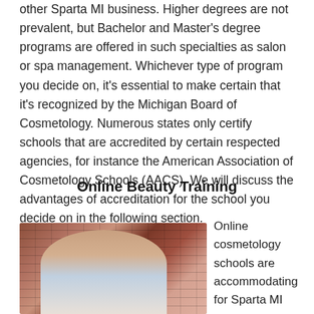other Sparta MI business. Higher degrees are not prevalent, but Bachelor and Master's degree programs are offered in such specialties as salon or spa management. Whichever type of program you decide on, it's essential to make certain that it's recognized by the Michigan Board of Cosmetology. Numerous states only certify schools that are accredited by certain respected agencies, for instance the American Association of Cosmetology Schools (AACS). We will discuss the advantages of accreditation for the school you decide on in the following section.
Online Beauty Training
[Figure (photo): A young woman with glasses and long dark hair sitting at a wooden table working on a silver laptop in front of a brick wall background.]
Online cosmetology schools are accommodating for Sparta MI students who are